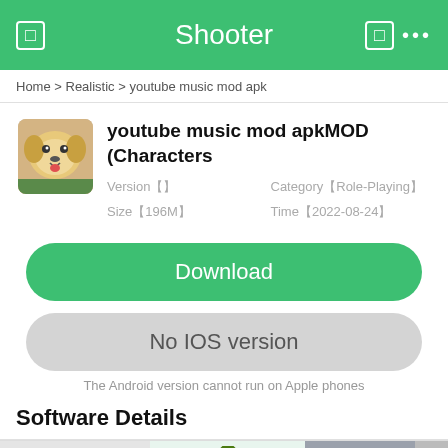Shooter
Home > Realistic > youtube music mod apk
youtube music mod apkMOD (Characters
Version【】  Category【Role-Playing】
Size【196M】  Time【2022-08-24】
Download
No IOS version
The Android version cannot run on Apple phones
Software Details
[Figure (screenshot): Bottom strip showing app thumbnails]